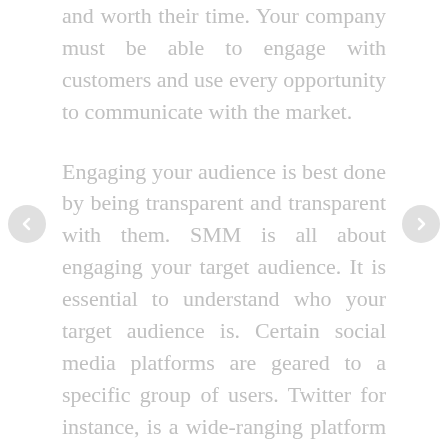and worth their time. Your company must be able to engage with customers and use every opportunity to communicate with the market.
Engaging your audience is best done by being transparent and transparent with them. SMM is all about engaging your target audience. It is essential to understand who your target audience is. Certain social media platforms are geared to a specific group of users. Twitter for instance, is a wide-ranging platform that targets younger audiences with more personal demographics. Other platforms, like Facebook, tend to be utilized by brands and businesses to reach out to their complete customers.
According to a Northeastern University study,